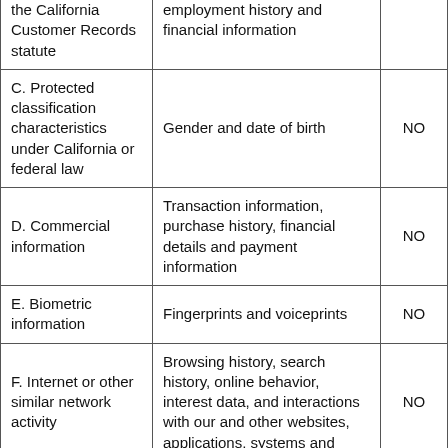| Category | Examples | Collected |
| --- | --- | --- |
| the California Customer Records statute | employment history and financial information |  |
| C. Protected classification characteristics under California or federal law | Gender and date of birth | NO |
| D. Commercial information | Transaction information, purchase history, financial details and payment information | NO |
| E. Biometric information | Fingerprints and voiceprints | NO |
| F. Internet or other similar network activity | Browsing history, search history, online behavior, interest data, and interactions with our and other websites, applications, systems and | NO |